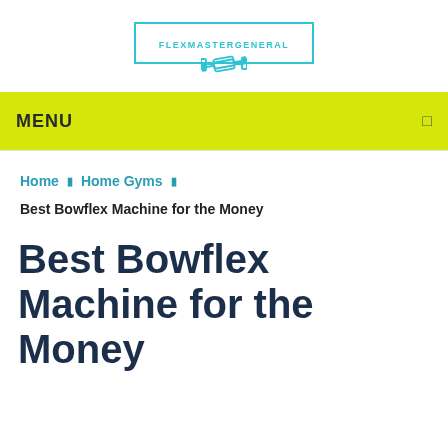[Figure (logo): FlexMasterGeneral logo: teal/cyan rectangle border with text FLEXMASTERGENERAL inside and a dumbbell icon below center]
MENU
Home | Home Gyms |
Best Bowflex Machine for the Money
Best Bowflex Machine for the Money